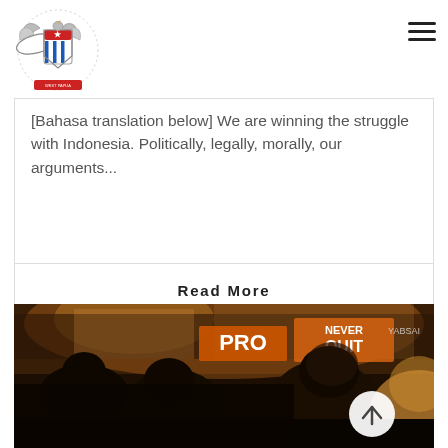[Figure (logo): West Papua independence movement crest/emblem with eagle wings, shield with blue and white stripes and a star, and text around the border]
[Bahasa translation below] We are winning the struggle with Indonesia. Politically, legally, morally, our arguments...
Read More
[Figure (photo): Night street scene with crowd of people in silhouette, signs visible including 'PRO NEVER QUIT' and 'YABSAI' in background storefronts, warm orange lighting]